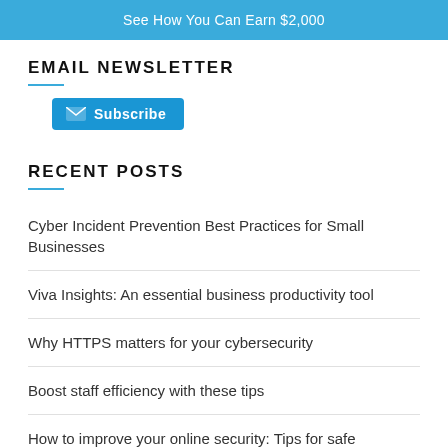See How You Can Earn $2,000
EMAIL NEWSLETTER
[Figure (other): Blue subscribe button with envelope icon and text 'Subscribe']
RECENT POSTS
Cyber Incident Prevention Best Practices for Small Businesses
Viva Insights: An essential business productivity tool
Why HTTPS matters for your cybersecurity
Boost staff efficiency with these tips
How to improve your online security: Tips for safe